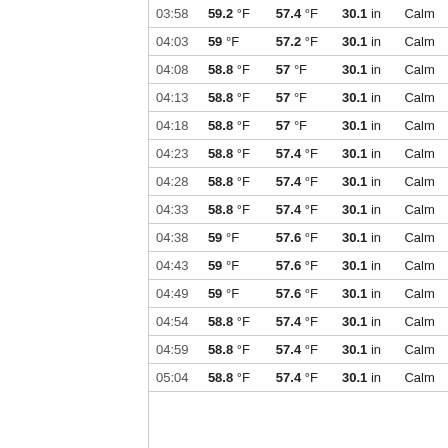| Time | Temp | Dew Point | Pressure | Wind |
| --- | --- | --- | --- | --- |
| 03:58 | 59.2 °F | 57.4 °F | 30.1 in | Calm |
| 04:03 | 59 °F | 57.2 °F | 30.1 in | Calm |
| 04:08 | 58.8 °F | 57 °F | 30.1 in | Calm |
| 04:13 | 58.8 °F | 57 °F | 30.1 in | Calm |
| 04:18 | 58.8 °F | 57 °F | 30.1 in | Calm |
| 04:23 | 58.8 °F | 57.4 °F | 30.1 in | Calm |
| 04:28 | 58.8 °F | 57.4 °F | 30.1 in | Calm |
| 04:33 | 58.8 °F | 57.4 °F | 30.1 in | Calm |
| 04:38 | 59 °F | 57.6 °F | 30.1 in | Calm |
| 04:43 | 59 °F | 57.6 °F | 30.1 in | Calm |
| 04:49 | 59 °F | 57.6 °F | 30.1 in | Calm |
| 04:54 | 58.8 °F | 57.4 °F | 30.1 in | Calm |
| 04:59 | 58.8 °F | 57.4 °F | 30.1 in | Calm |
| 05:04 | 58.8 °F | 57.4 °F | 30.1 in | Calm |